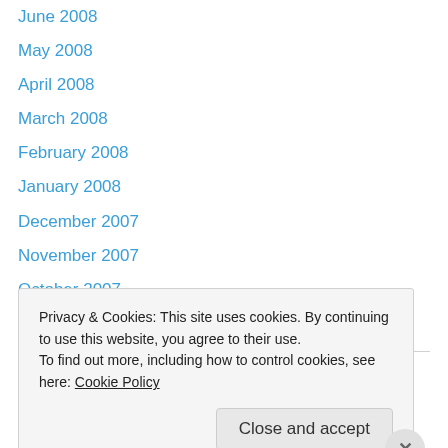June 2008
May 2008
April 2008
March 2008
February 2008
January 2008
December 2007
November 2007
October 2007
August 2007
Categories
Privacy & Cookies: This site uses cookies. By continuing to use this website, you agree to their use.
To find out more, including how to control cookies, see here: Cookie Policy
Close and accept